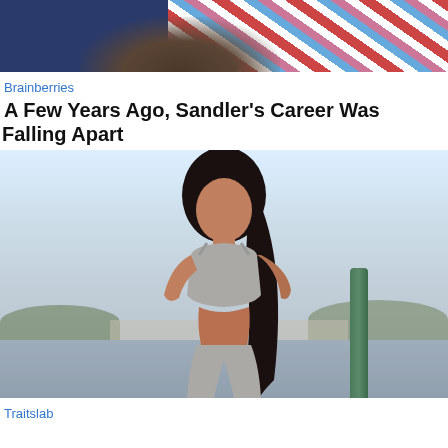[Figure (photo): Cropped photo of a man in a striped shirt, only lower face with beard visible]
Brainberries
A Few Years Ago, Sandler's Career Was Falling Apart
[Figure (photo): Fit woman with long dark hair wearing a gray sports bra and sweatpants, standing outdoors near a marina with palm trees]
Traitslab